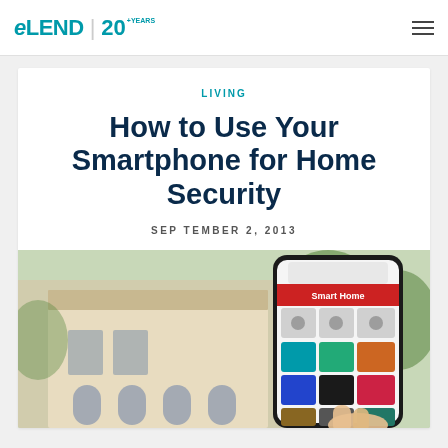eLEND | 20+ YEARS
LIVING
How to Use Your Smartphone for Home Security
SEPTEMBER 2, 2013
[Figure (photo): A hand holding a smartphone displaying a Smart Home app with colorful icons, with a blurred house and green trees in the background.]